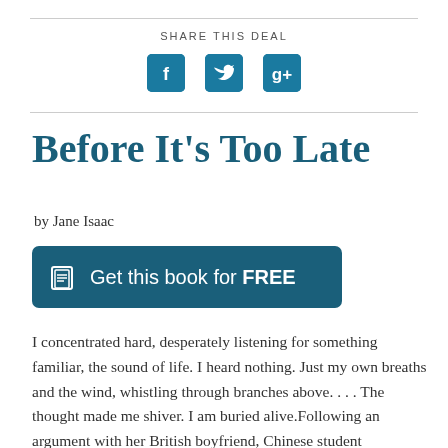SHARE THIS DEAL
[Figure (other): Three social media share icons: Facebook (f), Twitter (bird), and Google+ (g+), displayed as teal/blue rounded square buttons]
Before It’s Too Late
by Jane Isaac
Get this book for FREE
I concentrated hard, desperately listening for something familiar, the sound of life. I heard nothing. Just my own breaths and the wind, whistling through branches above. . . . The thought made me shiver. I am buried alive.Following an argument with her British boyfriend, Chinese student